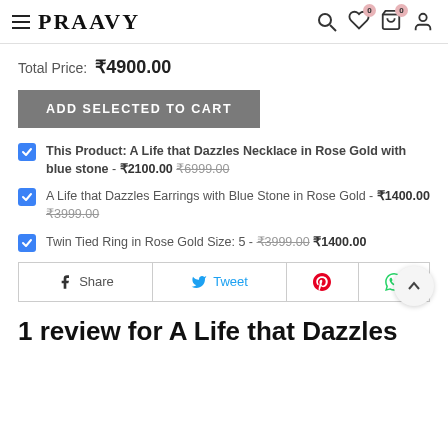PRAAVY
Total Price: ₹4900.00
ADD SELECTED TO CART
This Product: A Life that Dazzles Necklace in Rose Gold with blue stone - ₹2100.00  ₹6999.00
A Life that Dazzles Earrings with Blue Stone in Rose Gold - ₹1400.00  ₹3999.00
Twin Tied Ring in Rose Gold Size: 5 - ₹3999.00 ₹1400.00
Share  Tweet
1 review for A Life that Dazzles